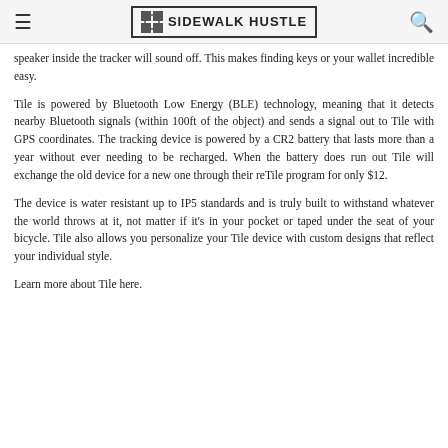SIDEWALK HUSTLE
speaker inside the tracker will sound off. This makes finding keys or your wallet incredible easy.
Tile is powered by Bluetooth Low Energy (BLE) technology, meaning that it detects nearby Bluetooth signals (within 100ft of the object) and sends a signal out to Tile with GPS coordinates. The tracking device is powered by a CR2 battery that lasts more than a year without ever needing to be recharged. When the battery does run out Tile will exchange the old device for a new one through their reTile program for only $12.
The device is water resistant up to IP5 standards and is truly built to withstand whatever the world throws at it, not matter if it's in your pocket or taped under the seat of your bicycle. Tile also allows you personalize your Tile device with custom designs that reflect your individual style.
Learn more about Tile here.